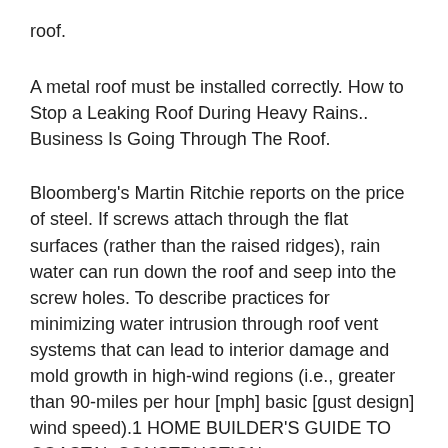roof.
A metal roof must be installed correctly. How to Stop a Leaking Roof During Heavy Rains.. Business Is Going Through The Roof.
Bloomberg's Martin Ritchie reports on the price of steel. If screws attach through the flat surfaces (rather than the raised ridges), rain water can run down the roof and seep into the screw holes. To describe practices for minimizing water intrusion through roof vent systems that can lead to interior damage and mold growth in high-wind regions (i.e., greater than 90-miles per hour [mph] basic [gust design] wind speed).1 HOME BUILDER’S GUIDE TO COASTAL CONSTRUCTION